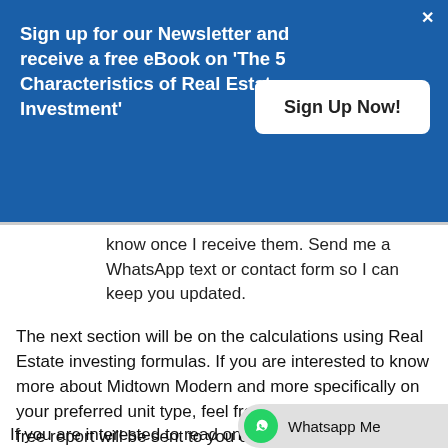Sign up for our Newsletter and receive a free eBook on 'The 5 Characteristics of Real Estate Investment'
know once I receive them. Send me a WhatsApp text or contact form so I can keep you updated.
The next section will be on the calculations using Real Estate investing formulas. If you are interested to know more about Midtown Modern and more specifically on your preferred unit type, feel free to contact me here. A free report will be sent to you once we meet up to discuss your needs, wants and requirements.
If you are interested to read on the calculations
[Figure (other): WhatsApp Me button with green WhatsApp icon on a grey pill-shaped background]